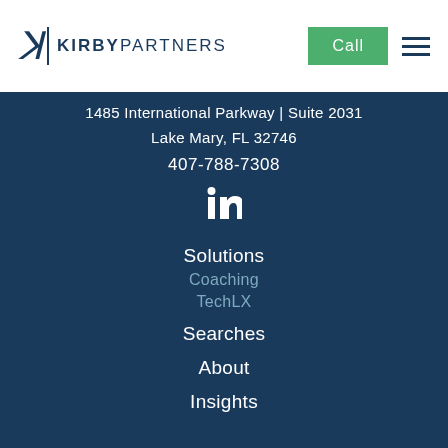Kirby Partners | Call
1485 International Parkway | Suite 2031
Lake Mary, FL 32746
407-788-7308
[Figure (logo): LinkedIn icon in white]
Solutions
Coaching
TechLX
Searches
About
Insights